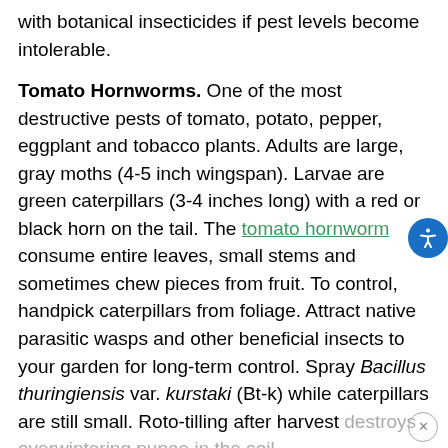with botanical insecticides if pest levels become intolerable.
Tomato Hornworms. One of the most destructive pests of tomato, potato, pepper, eggplant and tobacco plants. Adults are large, gray moths (4-5 inch wingspan). Larvae are green caterpillars (3-4 inches long) with a red or black horn on the tail. The tomato hornworm consume entire leaves, small stems and sometimes chew pieces from fruit. To control, handpick caterpillars from foliage. Attract native parasitic wasps and other beneficial insects to your garden for long-term control. Spray Bacillus thuringiensis var. kurstaki (Bt-k) while caterpillars are still small. Roto-tilling after harvest destroys overwintering pupae in the soil.